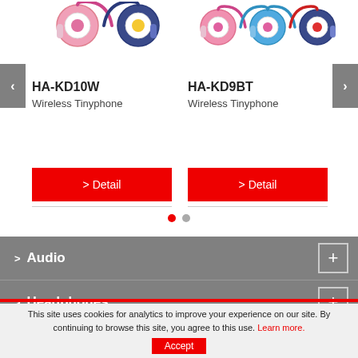[Figure (photo): Colorful children's wireless headphones in pink/white and navy/yellow colors shown at top of page]
HA-KD10W
Wireless Tinyphone
[Figure (photo): Colorful children's wireless headphones in pink/white, pink/blue, and red/blue colors]
HA-KD9BT
Wireless Tinyphone
> Detail
> Detail
> Audio
> Headphones
This site uses cookies for analytics to improve your experience on our site. By continuing to browse this site, you agree to this use. Learn more.
Accept